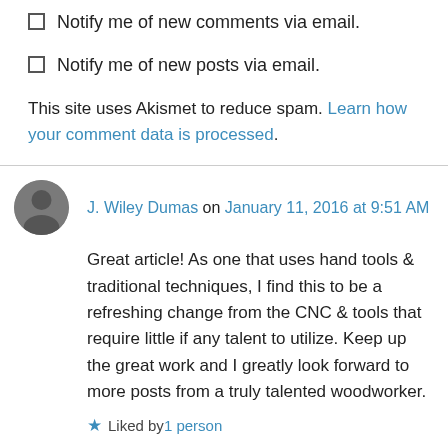Notify me of new comments via email.
Notify me of new posts via email.
This site uses Akismet to reduce spam. Learn how your comment data is processed.
J. Wiley Dumas on January 11, 2016 at 9:51 AM
Great article! As one that uses hand tools & traditional techniques, I find this to be a refreshing change from the CNC & tools that require little if any talent to utilize. Keep up the great work and I greatly look forward to more posts from a truly talented woodworker.
Liked by 1 person